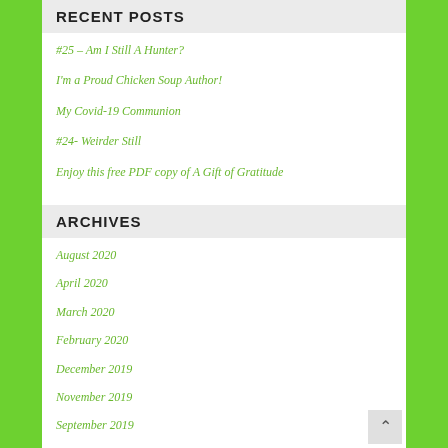RECENT POSTS
#25 – Am I Still A Hunter?
I'm a Proud Chicken Soup Author!
My Covid-19 Communion
#24- Weirder Still
Enjoy this free PDF copy of A Gift of Gratitude
ARCHIVES
August 2020
April 2020
March 2020
February 2020
December 2019
November 2019
September 2019
August 2019
July 2019